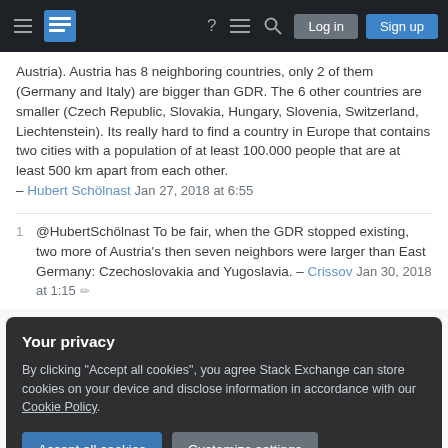Stack Exchange navigation bar with hamburger menu, logo, help, chat, search icons, Log in and Sign up buttons
Austria). Austria has 8 neighboring countries, only 2 of them (Germany and Italy) are bigger than GDR. The 6 other countries are smaller (Czech Republic, Slovakia, Hungary, Slovenia, Switzerland, Liechtenstein). Its really hard to find a country in Europe that contains two cities with a population of at least 100.000 people that are at least 500 km apart from each other. – Hubert Schölnast Jan 27, 2018 at 6:55
@HubertSchölnast To be fair, when the GDR stopped existing, two more of Austria's then seven neighbors were larger than East Germany: Czechoslovakia and Yugoslavia. – Crissov Jan 30, 2018 at 1:15
Your privacy
By clicking "Accept all cookies", you agree Stack Exchange can store cookies on your device and disclose information in accordance with our Cookie Policy.